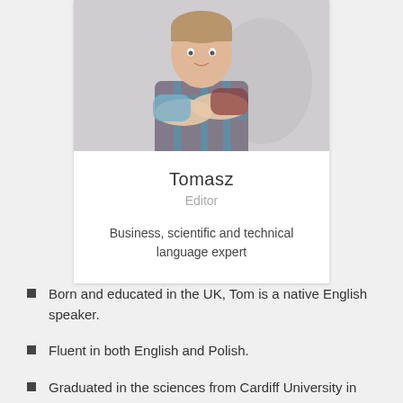[Figure (photo): A young man with arms crossed wearing a plaid shirt, standing against a light background]
Tomasz
Editor
Business, scientific and technical language expert
Born and educated in the UK, Tom is a native English speaker.
Fluent in both English and Polish.
Graduated in the sciences from Cardiff University in 2013.
Freelance proofreader and editor for foreign